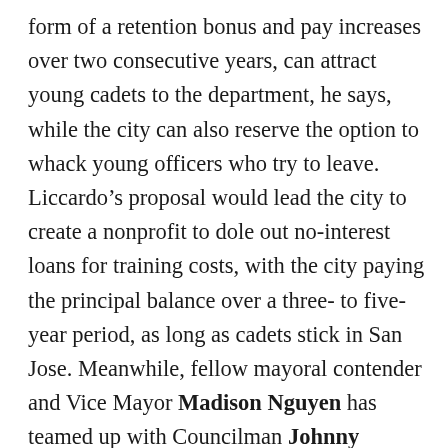form of a retention bonus and pay increases over two consecutive years, can attract young cadets to the department, he says, while the city can also reserve the option to whack young officers who try to leave. Liccardo's proposal would lead the city to create a nonprofit to dole out no-interest loans for training costs, with the city paying the principal balance over a three- to five-year period, as long as cadets stick in San Jose. Meanwhile, fellow mayoral contender and Vice Mayor Madison Nguyen has teamed up with Councilman Johnny Khamis to a create a “first five” initiative, which would allow the five fastest cadets to run for the hills before the hounds are unleashed. Just kidding. Nguyen and Khamis’ proposal would force cadets who leave early to pay a percentage of their